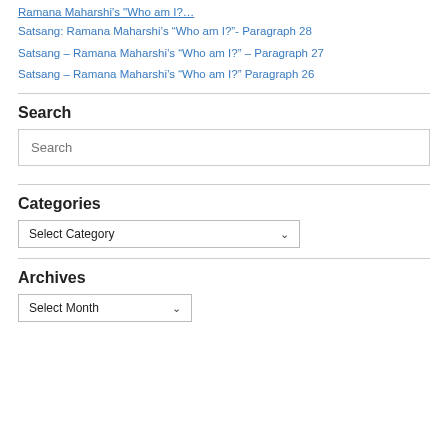Ramana Maharshi's “Who am I?”– (partial, cut off at top)
Satsang: Ramana Maharshi’s “Who am I?”- Paragraph 28
Satsang – Ramana Maharshi’s “Who am I?” – Paragraph 27
Satsang – Ramana Maharshi’s “Who am I?” Paragraph 26
Search
Search (input placeholder)
Categories
Select Category (dropdown)
Archives
Select Month (dropdown)